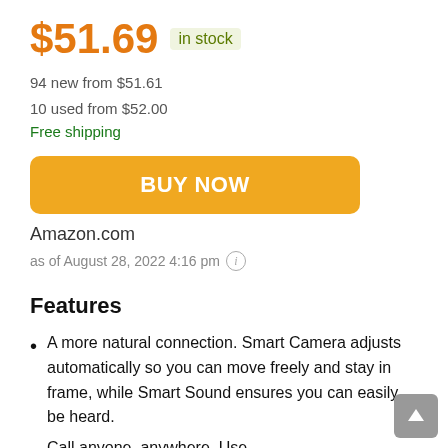$51.69 in stock
94 new from $51.61
10 used from $52.00
Free shipping
BUY NOW
Amazon.com
as of August 28, 2022 4:16 pm
Features
A more natural connection. Smart Camera adjusts automatically so you can move freely and stay in frame, while Smart Sound ensures you can easily be heard.
Call anyone, anywhere. Use